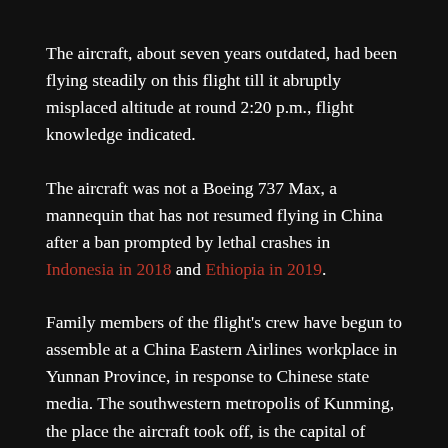The aircraft, about seven years outdated, had been flying steadily on this flight till it abruptly misplaced altitude at round 2:20 p.m., flight knowledge indicated.
The aircraft was not a Boeing 737 Max, a mannequin that has not resumed flying in China after a ban prompted by lethal crashes in Indonesia in 2018 and Ethiopia in 2019.
Family members of the flight's crew have begun to assemble at a China Eastern Airlines workplace in Yunnan Province, in response to Chinese state media. The southwestern metropolis of Kunming, the place the aircraft took off, is the capital of Yunnan. A crew is being arrange at that workplace to help the households.
A China Eastern worker holding an indication on Monday...